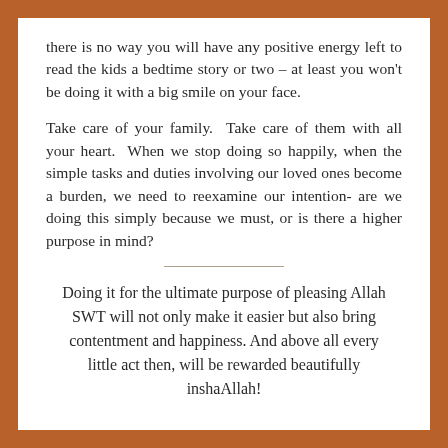there is no way you will have any positive energy left to read the kids a bedtime story or two – at least you won't be doing it with a big smile on your face.
Take care of your family.  Take care of them with all your heart.  When we stop doing so happily, when the simple tasks and duties involving our loved ones become a burden, we need to reexamine our intention- are we doing this simply because we must, or is there a higher purpose in mind?
Doing it for the ultimate purpose of pleasing Allah SWT will not only make it easier but also bring contentment and happiness. And above all every little act then, will be rewarded beautifully inshaAllah!